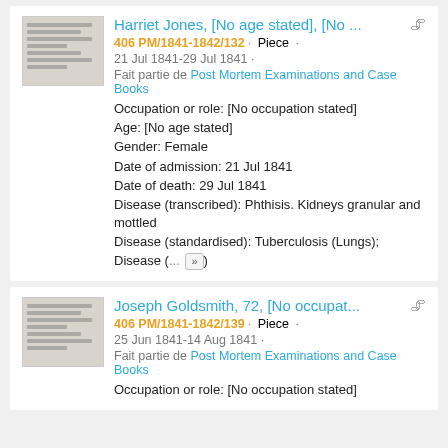Harriet Jones, [No age stated], [No ...
406 PM/1841-1842/132 · Piece ·
21 Jul 1841-29 Jul 1841 ·
Fait partie de Post Mortem Examinations and Case Books
Occupation or role: [No occupation stated]
Age: [No age stated]
Gender: Female
Date of admission: 21 Jul 1841
Date of death: 29 Jul 1841
Disease (transcribed): Phthisis. Kidneys granular and mottled
Disease (standardised): Tuberculosis (Lungs); Disease (... »
Joseph Goldsmith, 72, [No occupat...
406 PM/1841-1842/139 · Piece ·
25 Jun 1841-14 Aug 1841 ·
Fait partie de Post Mortem Examinations and Case Books
Occupation or role: [No occupation stated]